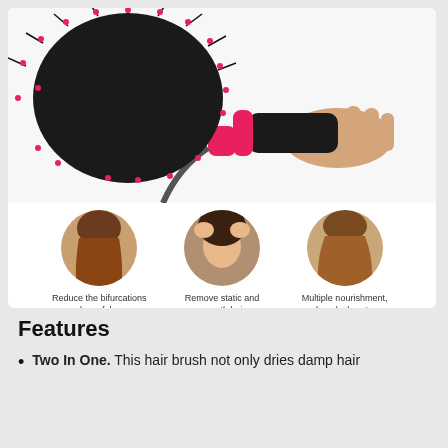[Figure (photo): Product photo of a black and pink hair dryer brush held by a hand, shown against white background. Below the brush are three circular inset photos of women demonstrating hair problems with captions: 'Reduce the bifurcations and careful care', 'Remove static and smooth hair', 'Multiple nourishment, deep lock water'.]
Reduce the bifurcations and careful care
Remove static and smooth hair
Multiple nourishment, deep lock water
Features
Two In One. This hair brush not only dries damp hair